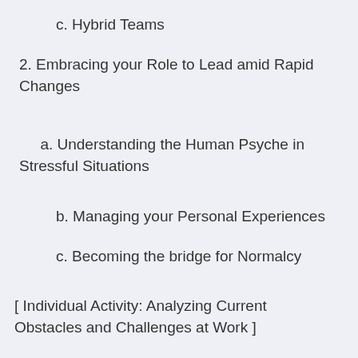c.  Hybrid Teams
2.  Embracing your Role to Lead amid Rapid Changes
a.  Understanding the Human Psyche in Stressful Situations
b.  Managing your Personal Experiences
c.  Becoming the bridge for Normalcy
[ Individual Activity: Analyzing Current Obstacles and Challenges at Work ]